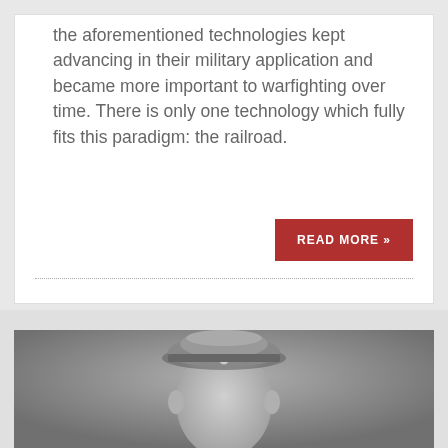the aforementioned technologies kept advancing in their military application and became more important to warfighting over time. There is only one technology which fully fits this paradigm: the railroad.
READ MORE »
[Figure (photo): Black and white photograph of a military officer wearing a peaked cap, visible from roughly the shoulders up, against a grey background.]